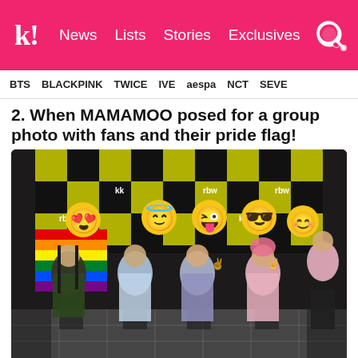k! News | Lists | Stories | Exclusives
BTS  BLACKPINK  TWICE  IVE  aespa  NCT  SEVE
2. When MAMAMOO posed for a group photo with fans and their pride flag!
[Figure (photo): Group photo of MAMAMOO members posing with fans holding a rainbow pride flag in front of a black and yellow checkered RBW backdrop. Fan faces are covered with emoji stickers. Members are seated/standing, one wearing floral dress, one in blue outfit, one in school uniform sweater, one with pink hair in pink outfit. A rainbow flag is being held on the left side.]